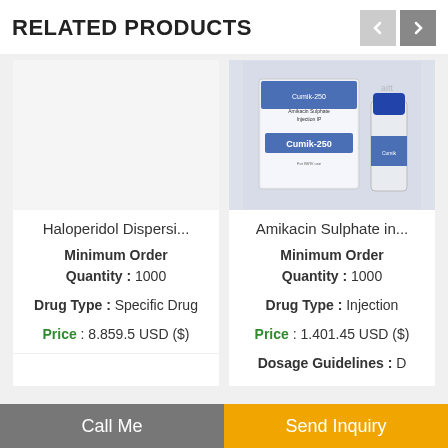RELATED PRODUCTS
[Figure (photo): Amikacin Sulphate Injection product image showing box labeled 'Cumik-250' and a glass vial with blue cap]
Haloperidol Dispersi...
Minimum Order Quantity : 1000
Drug Type : Specific Drug
Price : 8.859.5 USD ($)
Amikacin Sulphate in...
Minimum Order Quantity : 1000
Drug Type : Injection
Price : 1.401.45 USD ($)
Dosage Guidelines :
Call Me
Send Inquiry